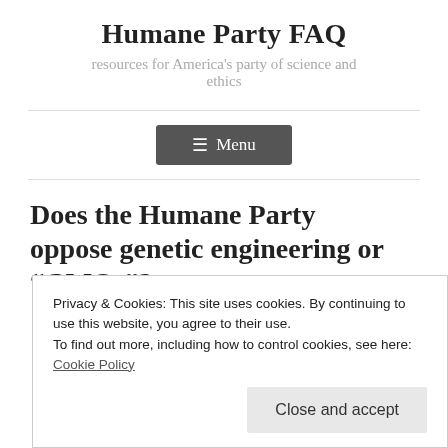Humane Party FAQ
resources for America's party of science and ethics
[Figure (other): Menu navigation button with hamburger icon]
Does the Humane Party oppose genetic engineering or “GMOs”?
Privacy & Cookies: This site uses cookies. By continuing to use this website, you agree to their use.
To find out more, including how to control cookies, see here: Cookie Policy
Close and accept
With respect to animals, see: The Humane Party